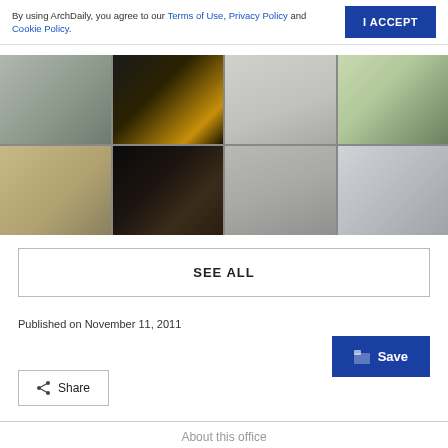By using ArchDaily, you agree to our Terms of Use, Privacy Policy and Cookie Policy.
[Figure (screenshot): Grid of 8 architectural interior and exterior photos in 4 columns and 2 rows]
SEE ALL
Published on November 11, 2011
[Figure (screenshot): Save button with folder icon, dark blue background]
[Figure (screenshot): Share button with share icon, white background with border]
About this office